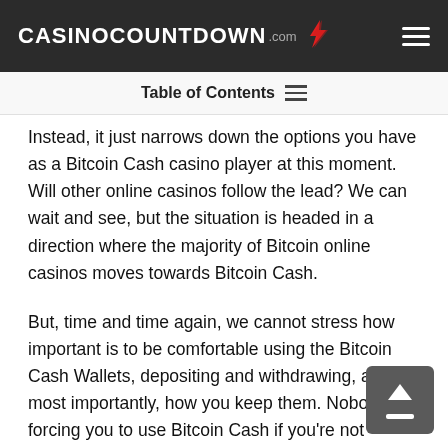CASINOCOUNTDOWN .com
Table of Contents
Instead, it just narrows down the options you have as a Bitcoin Cash casino player at this moment. Will other online casinos follow the lead? We can wait and see, but the situation is headed in a direction where the majority of Bitcoin online casinos moves towards Bitcoin Cash.
But, time and time again, we cannot stress how important is to be comfortable using the Bitcoin Cash Wallets, depositing and withdrawing, and most importantly, how you keep them. Nobody's forcing you to use Bitcoin Cash if you're not confident with it, you can still play with conventional currency.